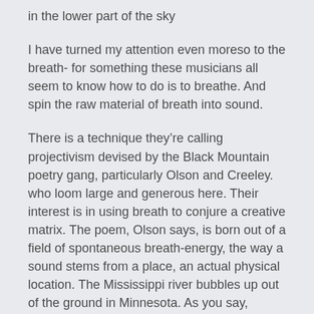in the lower part of the sky
I have turned my attention even moreso to the breath- for something these musicians all seem to know how to do is to breathe. And spin the raw material of breath into sound.
There is a technique they’re calling projectivism devised by the Black Mountain poetry gang, particularly Olson and Creeley. who loom large and generous here. Their interest is in using breath to conjure a creative matrix. The poem, Olson says, is born out of a field of spontaneous breath-energy, the way a sound stems from a place, an actual physical location. The Mississippi river bubbles up out of the ground in Minnesota. As you say, Merleau-Ponty and the boiling point. Verse follows the natural rhythms of speech; and